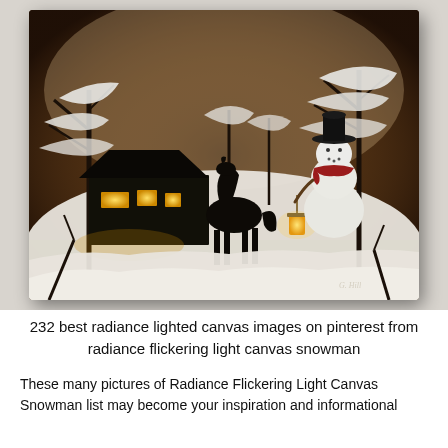[Figure (photo): A lighted canvas wall art painting showing a winter snow scene with a black horse, a snowman wearing a hat and red scarf holding a lantern, snow-covered trees, and a dark cabin with glowing lit windows. The painting hangs on a white brick wall.]
232 best radiance lighted canvas images on pinterest from radiance flickering light canvas snowman
These many pictures of Radiance Flickering Light Canvas Snowman list may become your inspiration and informational